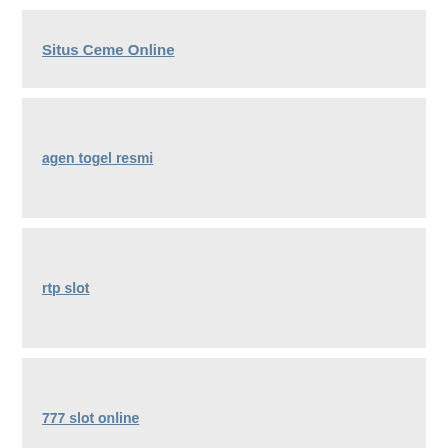Situs Ceme Online
agen togel resmi
rtp slot
777 slot online